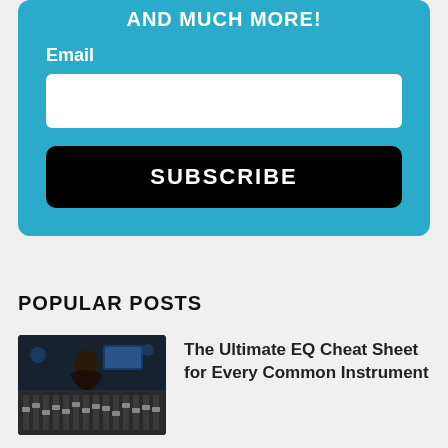AND MUCH MORE!
Email
[Figure (screenshot): Email input field (empty white text box)]
SUBSCRIBE
POPULAR POSTS
[Figure (photo): Person working at a mixing console in a dark studio environment]
The Ultimate EQ Cheat Sheet for Every Common Instrument